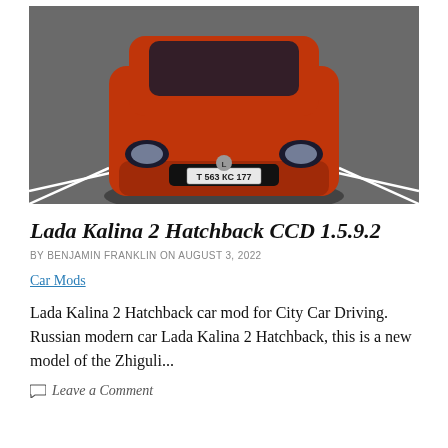[Figure (photo): Front view of a red/orange Lada Kalina 2 Hatchback car parked in a parking lot, seen from above-front angle, with Russian license plate Т 563 КС 177]
Lada Kalina 2 Hatchback CCD 1.5.9.2
BY BENJAMIN FRANKLIN ON AUGUST 3, 2022
Car Mods
Lada Kalina 2 Hatchback car mod for City Car Driving. Russian modern car Lada Kalina 2 Hatchback, this is a new model of the Zhiguli...
Leave a Comment